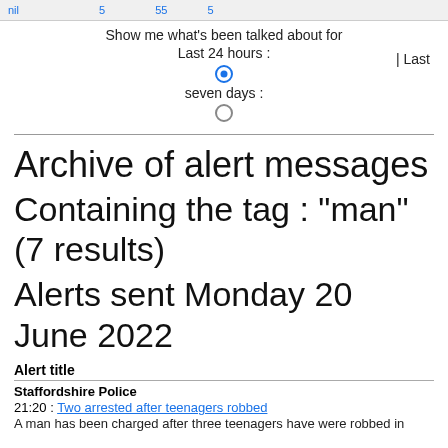nil   5   55   5
Show me what's been talked about for Last 24 hours :
| Last seven days :
Archive of alert messages
Containing the tag : "man" (7 results)
Alerts sent Monday 20 June 2022
Alert title
Staffordshire Police
21:20 : Two arrested after teenagers robbed
A man has been charged after three teenagers have were robbed in